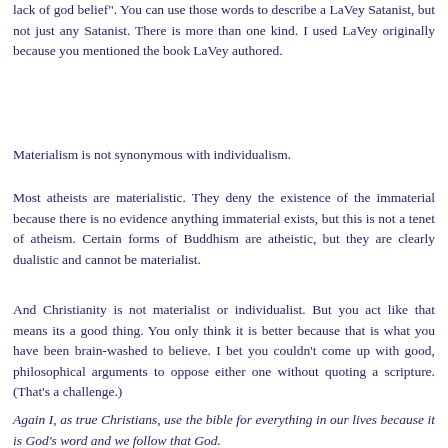lack of god belief". You can use those words to describe a LaVey Satanist, but not just any Satanist. There is more than one kind. I used LaVey originally because you mentioned the book LaVey authored.
Materialism is not synonymous with individualism.
Most atheists are materialistic. They deny the existence of the immaterial because there is no evidence anything immaterial exists, but this is not a tenet of atheism. Certain forms of Buddhism are atheistic, but they are clearly dualistic and cannot be materialist.
And Christianity is not materialist or individualist. But you act like that means its a good thing. You only think it is better because that is what you have been brain-washed to believe. I bet you couldn't come up with good, philosophical arguments to oppose either one without quoting a scripture. (That's a challenge.)
Again I, as true Christians, use the bible for everything in our lives because it is God's word and we follow that God.